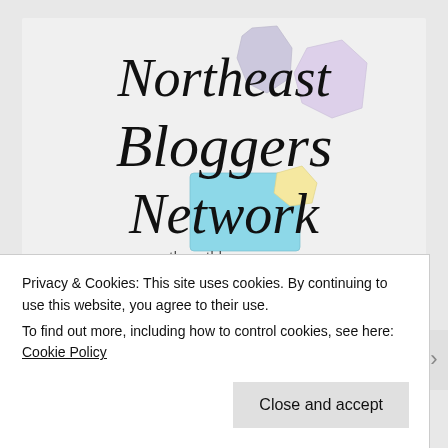[Figure (logo): Northeast Bloggers Network logo with cursive text and illustrated US northeast state map shapes in pastel colors (light blue, light yellow, light purple), with URL northeastbloggers.com below]
[Figure (logo): Seventeen Social logo showing 'seventeen' in bold serif italic black text and 'SOCIAL' in large bold red italic letters]
Privacy & Cookies: This site uses cookies. By continuing to use this website, you agree to their use. To find out more, including how to control cookies, see here: Cookie Policy
Close and accept